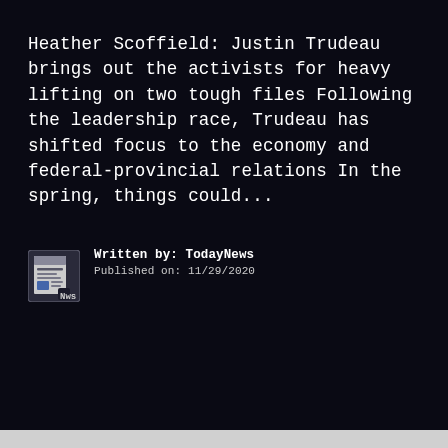Heather Scoffield: Justin Trudeau brings out the activists for heavy lifting on two tough files Following the leadership race, Trudeau has shifted focus to the economy and federal-provincial relations In the spring, things could...
Written by: TodayNews
Published on: 11/29/2020